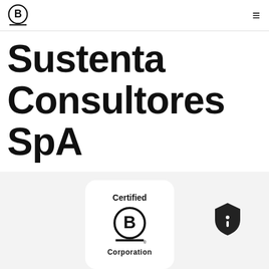B Corp Logo | Menu
Sustenta Consultores SpA
[Figure (logo): Certified B Corporation logo in a white rounded card on a light gray background, with a shield/info icon to the right]